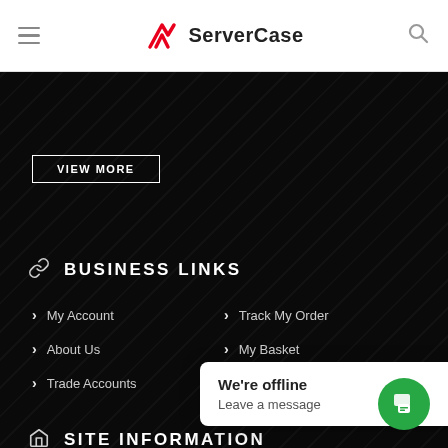ServerCase
BUSINESS LINKS
My Account
Track My Order
About Us
My Basket
Trade Accounts
Leasing
SITE INFORMATION
Contact Us
We're offline
Leave a message